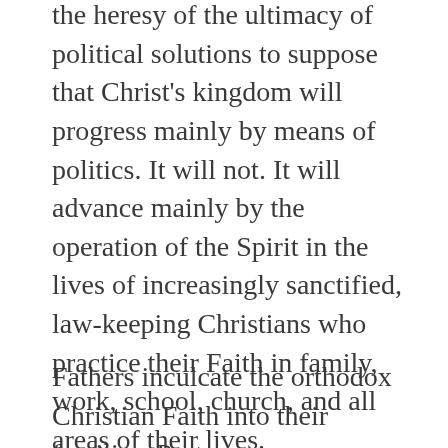the heresy of the ultimacy of political solutions to suppose that Christ's kingdom will progress mainly by means of politics. It will not. It will advance mainly by the operation of the Spirit in the lives of increasingly sanctified, law-keeping Christians who practice their Faith in family, work, school, church, and all areas of their lives.
Fathers inculcate the orthodox Christian Faith into their families. Pastors